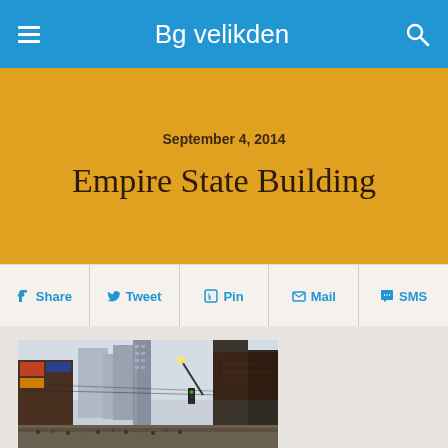Bg velikden
September 4, 2014
Empire State Building
Share | Tweet | Pin | Mail | SMS
[Figure (photo): Street-level photograph of a busy urban intersection with tall skyscrapers, billboards, and crowds, resembling Times Square in New York City]